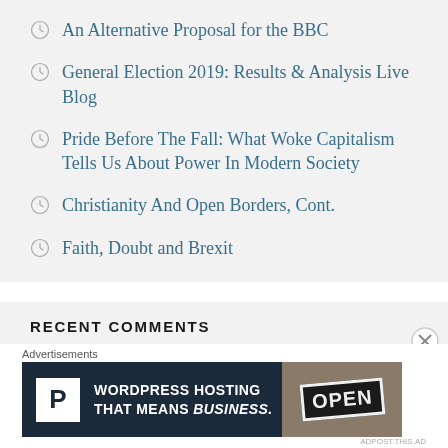An Alternative Proposal for the BBC
General Election 2019: Results & Analysis Live Blog
Pride Before The Fall: What Woke Capitalism Tells Us About Power In Modern Society
Christianity And Open Borders, Cont.
Faith, Doubt and Brexit
RECENT COMMENTS
Kitty S Jones on The Left Are Weaponising Human...
[Figure (illustration): Yellow-green geometric snowflake/star pattern avatar icon]
Advertisements
[Figure (infographic): WordPress hosting advertisement banner with dark navy background, P logo, text 'WORDPRESS HOSTING THAT MEANS BUSINESS.' and an open sign photo]